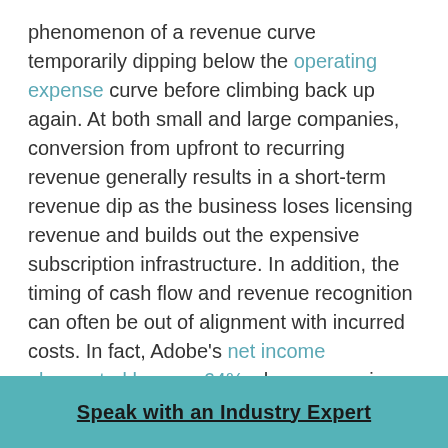phenomenon of a revenue curve temporarily dipping below the operating expense curve before climbing back up again. At both small and large companies, conversion from upfront to recurring revenue generally results in a short-term revenue dip as the business loses licensing revenue and builds out the expensive subscription infrastructure. In addition, the timing of cash flow and revenue recognition can often be out of alignment with incurred costs. In fact, Adobe's net income plummeted by over 64% when comparing Q1 2012 and Q4 2013, the former being when they launched the subscription version of the Creative Suite. Yet, Q4 2016 marked a 515% increase from its 2013 low. The subscription model's high initial deployment costs mean companies need to prepare
Speak with an Industry Expert